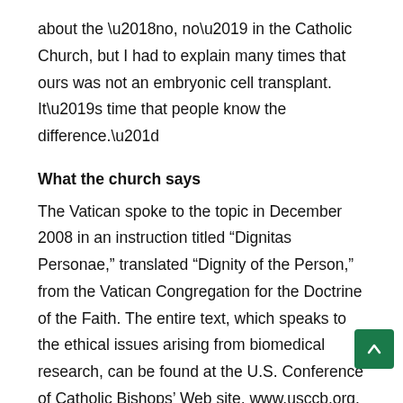about the ‘no, no’ in the Catholic Church, but I had to explain many times that ours was not an embryonic cell transplant. It’s time that people know the difference.”
What the church says
The Vatican spoke to the topic in December 2008 in an instruction titled “Dignitas Personae,” translated “Dignity of the Person,” from the Vatican Congregation for the Doctrine of the Faith. The entire text, which speaks to the ethical issues arising from biomedical research, can be found at the U.S. Conference of Catholic Bishops’ Web site, www.usccb.org.